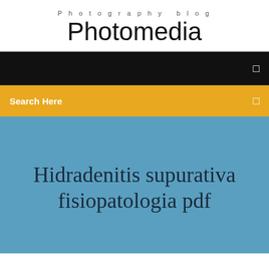Photography blog
Photomedia
[Figure (screenshot): Black navigation bar with a small white icon on the right]
[Figure (screenshot): Yellow/amber search bar with 'Search Here' text in white bold and a small icon on the right]
Hidradenitis supurativa fisiopatologia pdf